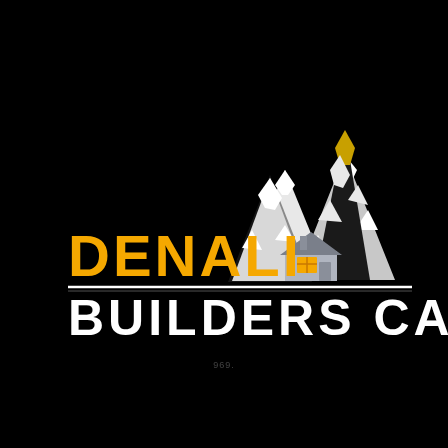[Figure (logo): Denali Builders CA logo on black background. Left side: 'DENALI' in large bold yellow/gold letters. Right side: mountain peaks illustration in white/gray with snow patches and gold highlights, with a small house icon (gray roof, yellow window) at the base of the mountains. Below a white horizontal divider line: 'BUILDERS CA' in large bold white letters.]